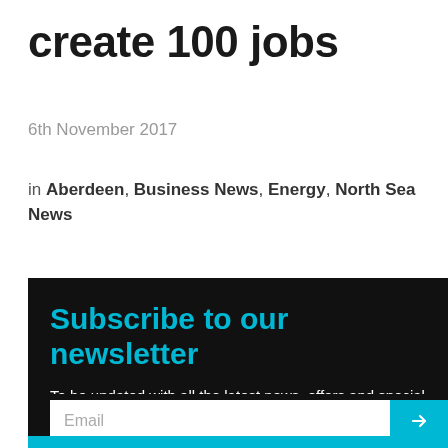create 100 jobs
6th November 2017
in Aberdeen, Business News, Energy, North Sea News
Subscribe to our newsletter
To be updated with all the latest news, offers and special announcements.